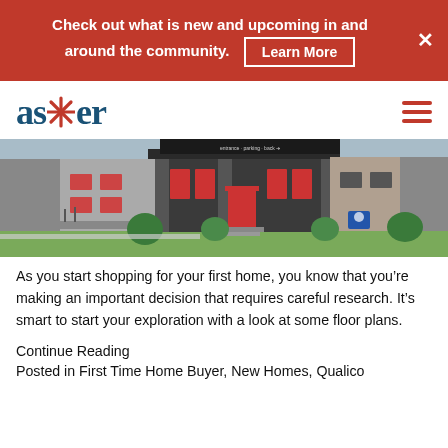Check out what is new and upcoming in and around the community. Learn More
[Figure (logo): Aster community logo with stylized asterisk in red and teal text]
[Figure (photo): Exterior photo of a modern duplex home with dark brick, red-trimmed windows and doors, green lawn, signage visible]
As you start shopping for your first home, you know that you’re making an important decision that requires careful research. It’s smart to start your exploration with a look at some floor plans.
Continue Reading
Posted in First Time Home Buyer, New Homes, Qualico